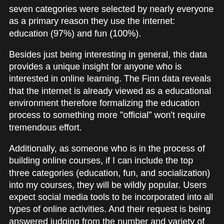seven categories were selected by nearly everyone as a primary reason they use the internet: education (97%) and fun (100%).
Besides just being interesting in general, this data provides a unique insight for anyone who is interested in online learning. The Finn data reveals that the internet is already viewed as a educational environment therefore formalizing the education process to something more "official" won't require tremendous effort.
Additionally, as someone who is in the process of building online courses, if I can include the top three categories (education, fun, and socialization) into my courses, they will be wildly popular. Users expect social media tools to be incorporated into all types of online activities. And their request is being answered judging from the number and variety of websites who are adding the option to post links and comments directly to Facebook and Twitter. Including these tools in online courses is a must.
The move toward online learning seems like such a natural